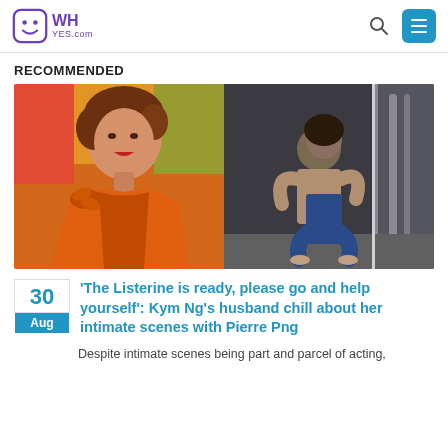WH YES.com
RECOMMENDED
[Figure (photo): Two side-by-side photos: left shows a woman with short brown hair wearing an orange off-shoulder dress smiling; right shows two people in an intimate embrace indoors.]
30 Aug
'The Listerine is ready, please go and help yourself': Kym Ng's husband chill about her intimate scenes with Pierre Png
Despite intimate scenes being part and parcel of acting,